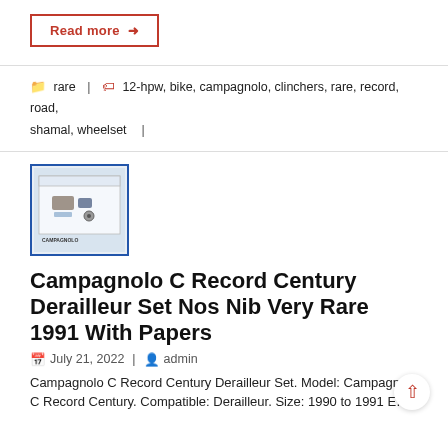Read more →
rare | 12-hpw, bike, campagnolo, clinchers, rare, record, road, shamal, wheelset |
[Figure (photo): Thumbnail photo of a Campagnolo C Record Century Derailleur Set in a box, shown in a blue-bordered rectangle.]
Campagnolo C Record Century Derailleur Set Nos Nib Very Rare 1991 With Papers
July 21, 2022 | admin
Campagnolo C Record Century Derailleur Set. Model: Campagnolo C Record Century. Compatible: Derailleur. Size: 1990 to 1991 E…